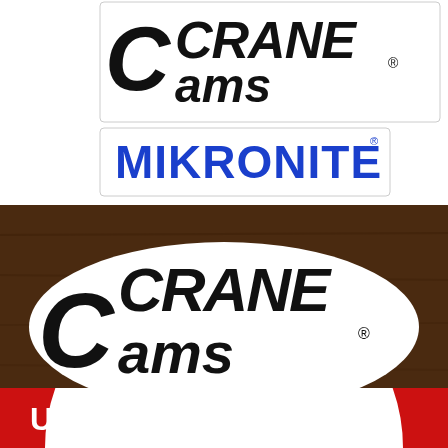[Figure (photo): Photo of Crane Cams and Mikronite sticker/decal on white background. Shows 'CRANE Cams' logo in black bold italic font with registered trademark symbol, and 'MIKRONITE' text in blue bold font below it.]
[Figure (photo): Photo of large Crane Cams decal/sticker on a dark brown wooden surface. The logo shows 'CRANE Cams' in large bold black italic lettering with white outline and registered trademark symbol.]
[Figure (photo): Partial photo of a circular red and white automotive logo/sign. Shows curved text reading 'UN AUTOMOTI' (partial) in white on a red circular band, with the rest of the circle cut off at the bottom of the image.]